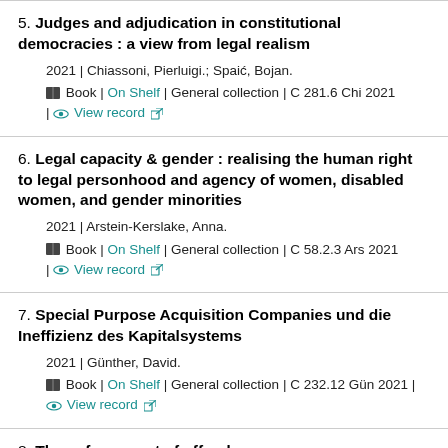5. Judges and adjudication in constitutional democracies : a view from legal realism
2021 | Chiassoni, Pierluigi.; Spaić, Bojan.
Book | On Shelf | General collection | C 281.6 Chi 2021 | View record
6. Legal capacity & gender : realising the human right to legal personhood and agency of women, disabled women, and gender minorities
2021 | Arstein-Kerslake, Anna.
Book | On Shelf | General collection | C 58.2.3 Ars 2021 | View record
7. Special Purpose Acquisition Companies und die Ineffizienz des Kapitalsystems
2021 | Günther, David.
Book | On Shelf | General collection | C 232.12 Gün 2021 | View record
8. The enforcement of offender...